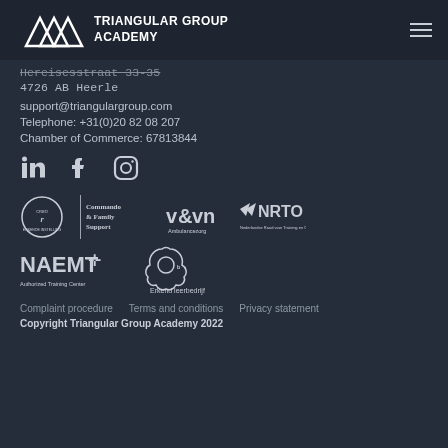TRIANGULAR GROUP ACADEMY
Hereisesstraat 33-35
4726 AB Heerle
support@triangulargroup.com
Telephone: +31(0)20 82 08 207
Chamber of Commerce: 67813844
[Figure (logo): Social media icons: LinkedIn, Facebook, Instagram]
[Figure (logo): Partner logos row 1: CRBO, Commando & Family Support, V&VN Ambulancezorg, NRTO]
[Figure (logo): Partner logos row 2: NAEMT Authorized Training Center, Erkend leerbedrijf]
Complaint procedure   Terms and conditions   Privacy statement
Copyright Triangular Group Academy 2022